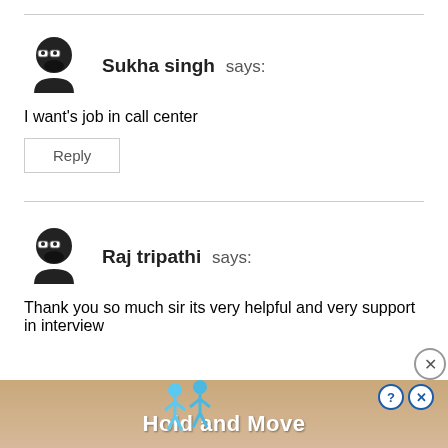Sukha singh says:
I want's job in call center
Reply
Raj tripathi says:
Thank you so much sir its very helpful and very support in interview
[Figure (screenshot): Mobile game advertisement banner showing 'Hold and Move' with cartoon figures]